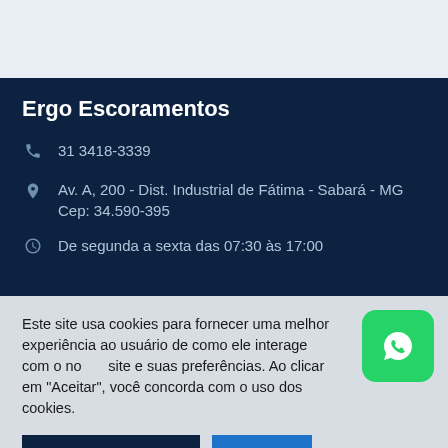Ergo Escoramentos
31 3418-3339
Av. A, 200 - Dist. Industrial de Fátima - Sabará - MG
Cep: 34.590-395
De segunda a sexta das 07:30 às 17:00
Este site usa cookies para fornecer uma melhor experiência ao usuário de como ele interage com o nosso site e suas preferências. Ao clicar em "Aceitar", você concorda com o uso dos cookies.
Política de Privacidade
Aceitar